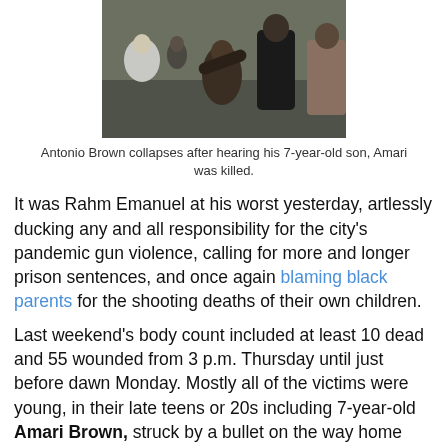[Figure (photo): Antonio Brown collapses after hearing his 7-year-old son, Amari was killed. He is being supported by people around him outdoors.]
Antonio Brown collapses after hearing his 7-year-old son, Amari was killed.
It was Rahm Emanuel at his worst yesterday, artlessly ducking any and all responsibility for the city's pandemic gun violence, calling for more and longer prison sentences, and once again blaming black parents for the shooting deaths of their own children.
Last weekend's body count included at least 10 dead and 55 wounded from 3 p.m. Thursday until just before dawn Monday. Mostly all of the victims were young, in their late teens or 20s including 7-year-old Amari Brown, struck by a bullet on the way home from watching fireworks.